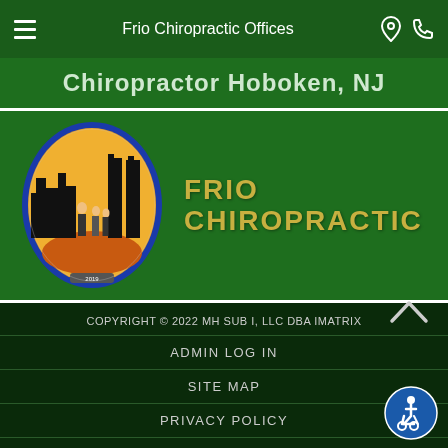Frio Chiropractic Offices
Chiropractor Hoboken, NJ
[Figure (logo): Frio Chiropractic logo: oval shaped logo with cityscape silhouette and figures on orange/yellow background, beside text 'FRIO CHIROPRACTIC' in large gold letters on green background]
COPYRIGHT © 2022 MH SUB I, LLC DBA IMATRIX
ADMIN LOG IN
SITE MAP
PRIVACY POLICY
HIPAA POLICY
TERMS OF USE